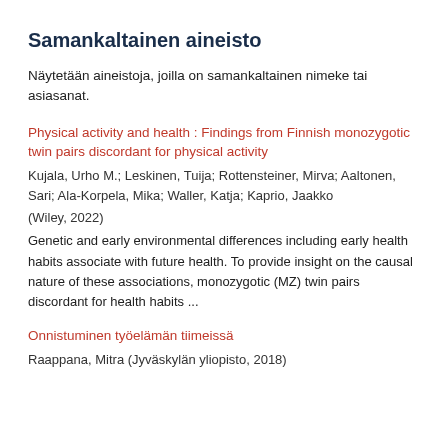Samankaltainen aineisto
Näytetään aineistoja, joilla on samankaltainen nimeke tai asiasanat.
Physical activity and health : Findings from Finnish monozygotic twin pairs discordant for physical activity
Kujala, Urho M.; Leskinen, Tuija; Rottensteiner, Mirva; Aaltonen, Sari; Ala-Korpela, Mika; Waller, Katja; Kaprio, Jaakko
(Wiley, 2022)
Genetic and early environmental differences including early health habits associate with future health. To provide insight on the causal nature of these associations, monozygotic (MZ) twin pairs discordant for health habits ...
Onnistuminen työelämän tiimeissä
Raappana, Mitra (Jyväskylän yliopisto, 2018)